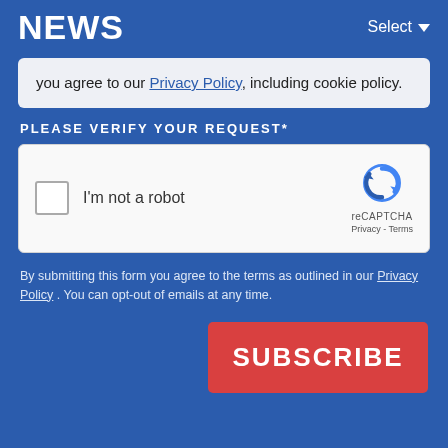NEWS
you agree to our Privacy Policy, including cookie policy.
PLEASE VERIFY YOUR REQUEST*
[Figure (other): reCAPTCHA widget with checkbox labeled I'm not a robot and reCAPTCHA logo with Privacy - Terms links]
By submitting this form you agree to the terms as outlined in our Privacy Policy . You can opt-out of emails at any time.
SUBSCRIBE